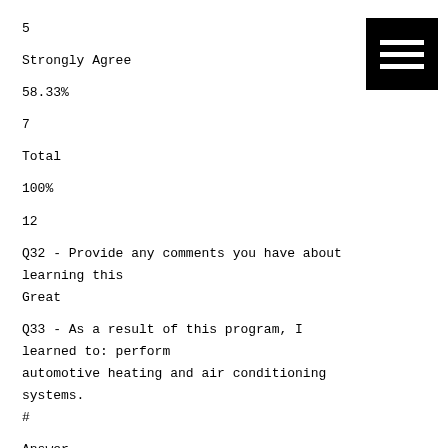5
Strongly Agree
58.33%
7
Total
100%
12
Q32 - Provide any comments you have about learning this Great
Q33 - As a result of this program, I learned to: perform automotive heating and air conditioning systems.
#
Answer
%
Count
1